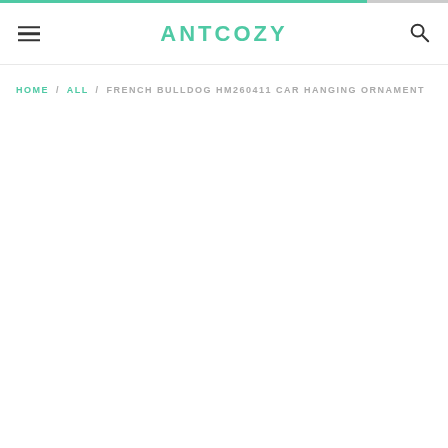ANTCOZY
HOME / ALL / FRENCH BULLDOG HM260411 CAR HANGING ORNAMENT